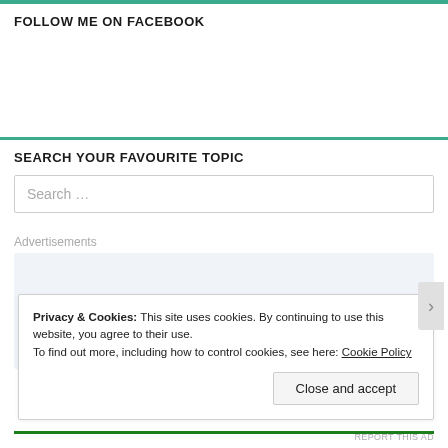FOLLOW ME ON FACEBOOK
SEARCH YOUR FAVOURITE TOPIC
Search ...
Advertisements
[Figure (other): Advertisement placeholder with large serif text reading 'Build a writing']
Privacy & Cookies: This site uses cookies. By continuing to use this website, you agree to their use.
To find out more, including how to control cookies, see here: Cookie Policy
Close and accept